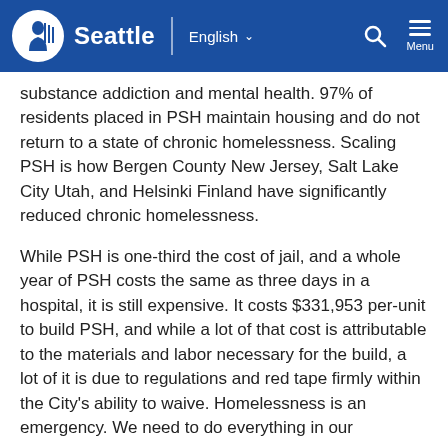Seattle | English
substance addiction and mental health. 97% of residents placed in PSH maintain housing and do not return to a state of chronic homelessness. Scaling PSH is how Bergen County New Jersey, Salt Lake City Utah, and Helsinki Finland have significantly reduced chronic homelessness.
While PSH is one-third the cost of jail, and a whole year of PSH costs the same as three days in a hospital, it is still expensive. It costs $331,953 per-unit to build PSH, and while a lot of that cost is attributable to the materials and labor necessary for the build, a lot of it is due to regulations and red tape firmly within the City's ability to waive. Homelessness is an emergency. We need to do everything in our